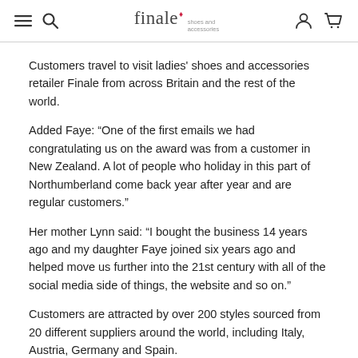finale shoes and accessories
Customers travel to visit ladies' shoes and accessories retailer Finale from across Britain and the rest of the world.
Added Faye: “One of the first emails we had congratulating us on the award was from a customer in New Zealand. A lot of people who holiday in this part of Northumberland come back year after year and are regular customers.”
Her mother Lynn said: “I bought the business 14 years ago and my daughter Faye joined six years ago and helped move us further into the 21st century with all of the social media side of things, the website and so on.”
Customers are attracted by over 200 styles sourced from 20 different suppliers around the world, including Italy, Austria, Germany and Spain.